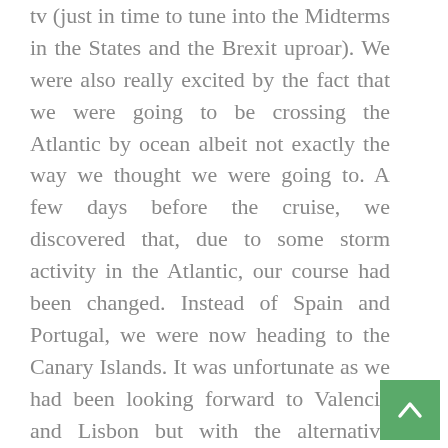tv (just in time to tune into the Midterms in the States and the Brexit uproar). We were also really excited by the fact that we were going to be crossing the Atlantic by ocean albeit not exactly the way we thought we were going to. A few days before the cruise, we discovered that, due to some storm activity in the Atlantic, our course had been changed. Instead of Spain and Portugal, we were now heading to the Canary Islands. It was unfortunate as we had been looking forward to Valencia and Lisbon but with the alternative being a very rough ride, we were happy to have a smoother sail. We had not been to any of the islands so